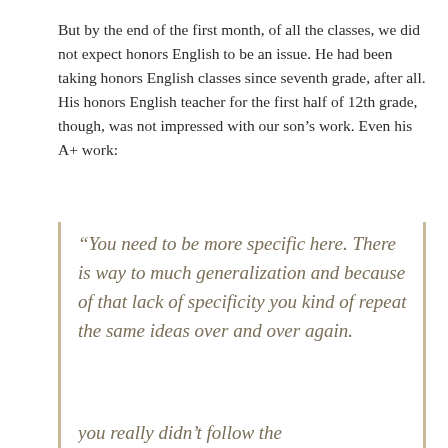But by the end of the first month, of all the classes, we did not expect honors English to be an issue. He had been taking honors English classes since seventh grade, after all. His honors English teacher for the first half of 12th grade, though, was not impressed with our son's work. Even his A+ work:
“You need to be more specific here. There is way to much generalization and because of that lack of specificity you kind of repeat the same ideas over and over again.
you really didn’t follow the